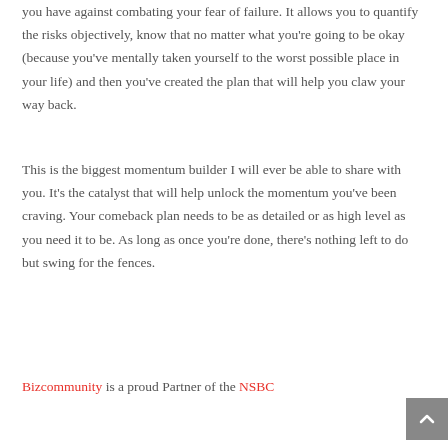you have against combating your fear of failure. It allows you to quantify the risks objectively, know that no matter what you're going to be okay (because you've mentally taken yourself to the worst possible place in your life) and then you've created the plan that will help you claw your way back.
This is the biggest momentum builder I will ever be able to share with you. It's the catalyst that will help unlock the momentum you've been craving. Your comeback plan needs to be as detailed or as high level as you need it to be. As long as once you're done, there's nothing left to do but swing for the fences.
Bizcommunity is a proud Partner of the NSBC